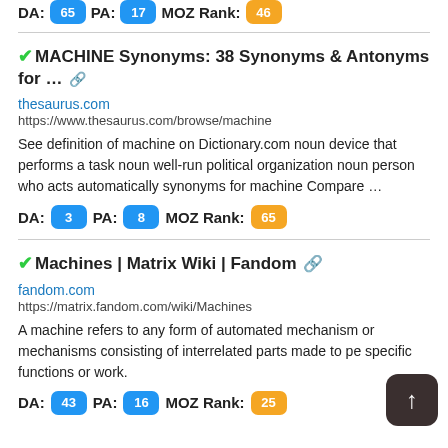DA: 65 PA: 17 MOZ Rank: 46
✔MACHINE Synonyms: 38 Synonyms & Antonyms for ... 🔗
thesaurus.com
https://www.thesaurus.com/browse/machine
See definition of machine on Dictionary.com noun device that performs a task noun well-run political organization noun person who acts automatically synonyms for machine Compare …
DA: 3 PA: 8 MOZ Rank: 65
✔Machines | Matrix Wiki | Fandom 🔗
fandom.com
https://matrix.fandom.com/wiki/Machines
A machine refers to any form of automated mechanism or mechanisms consisting of interrelated parts made to pe specific functions or work.
DA: 43 PA: 16 MOZ Rank: 25